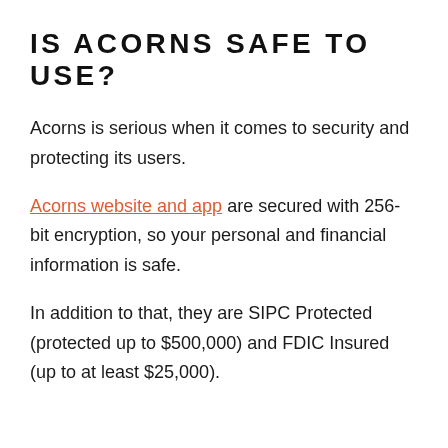IS ACORNS SAFE TO USE?
Acorns is serious when it comes to security and protecting its users.
Acorns website and app are secured with 256-bit encryption, so your personal and financial information is safe.
In addition to that, they are SIPC Protected (protected up to $500,000) and FDIC Insured (up to at least $25,000).